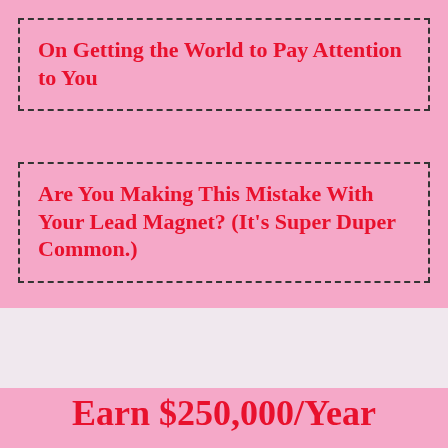On Getting the World to Pay Attention to You
Are You Making This Mistake With Your Lead Magnet? (It's Super Duper Common.)
Earn $250,000/Year